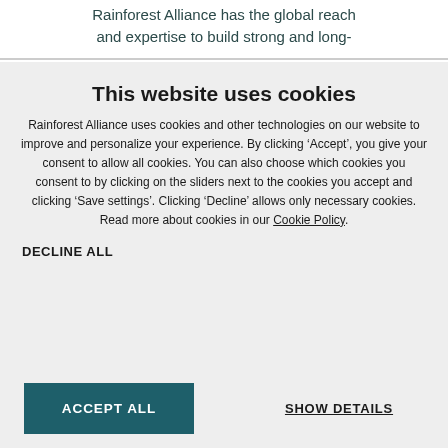Rainforest Alliance has the global reach and expertise to build strong and long-
This website uses cookies
Rainforest Alliance uses cookies and other technologies on our website to improve and personalize your experience. By clicking ‘Accept’, you give your consent to allow all cookies. You can also choose which cookies you consent to by clicking on the sliders next to the cookies you accept and clicking ‘Save settings’. Clicking ‘Decline’ allows only necessary cookies. Read more about cookies in our Cookie Policy.
DECLINE ALL
ACCEPT ALL
SHOW DETAILS